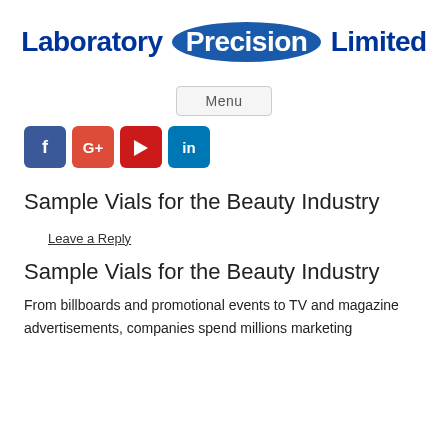[Figure (logo): Laboratory Precision Limited logo with blue oval around Precision]
Menu
[Figure (other): Social media icons: Facebook, Google+, YouTube, LinkedIn]
Sample Vials for the Beauty Industry
Leave a Reply
Sample Vials for the Beauty Industry
From billboards and promotional events to TV and magazine advertisements, companies spend millions marketing